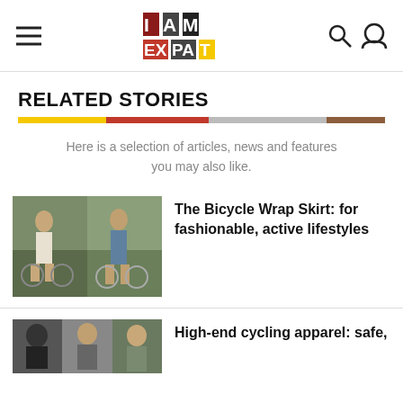I AM EXPAT
RELATED STORIES
Here is a selection of articles, news and features you may also like.
[Figure (photo): Two women with bicycles outdoors]
The Bicycle Wrap Skirt: for fashionable, active lifestyles
[Figure (photo): People in cycling apparel]
High-end cycling apparel: safe,